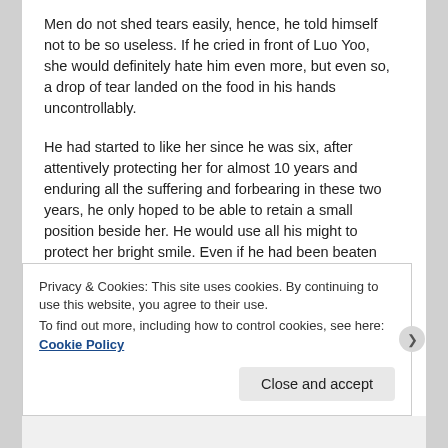Men do not shed tears easily, hence, he told himself not to be so useless. If he cried in front of Luo Yoo, she would definitely hate him even more, but even so, a drop of tear landed on the food in his hands uncontrollably.
He had started to like her since he was six, after attentively protecting her for almost 10 years and enduring all the suffering and forbearing in these two years, he only hoped to be able to retain a small position beside her. He would use all his might to protect her bright smile. Even if he had been beaten up, scolded, and hated by her, his feelings had not changed even a tiny bit, he only had her in his eyes!
Privacy & Cookies: This site uses cookies. By continuing to use this website, you agree to their use.
To find out more, including how to control cookies, see here: Cookie Policy